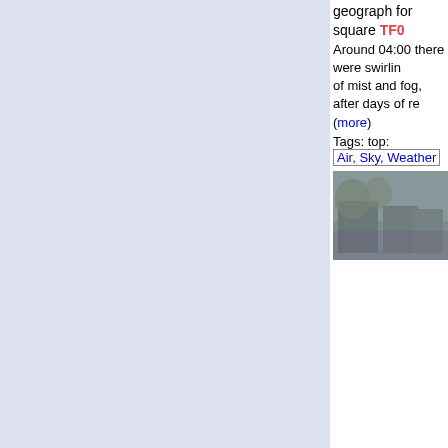geograph for square TF0
Around 04:00 there were swirling of mist and fog, after days of re... (more)
Tags: top: Air, Sky, Weather
[Figure (photo): Misty outdoor scene showing trees and houses in fog]
place: Bourne x   type: Geog   Housing Estate x   top: Housing, Dwellings x   top: Lowlands x   Mid Summ...   weather: Misty x   top: Suburb, Urban Fringe x   season: Summer x   subject:
Midsummer Mist by Bob geograph for square TF0
Around 04:00 there were swirling of mist and fog, after days of re... (more)
Tags: top: Air, Sky, Weather
[Figure (photo): Misty outdoor scene with twilight sky and houses]
place: Bourne x   type: Geog   Housing Estate x   top: Lowl...   Mid Summer x   weather: